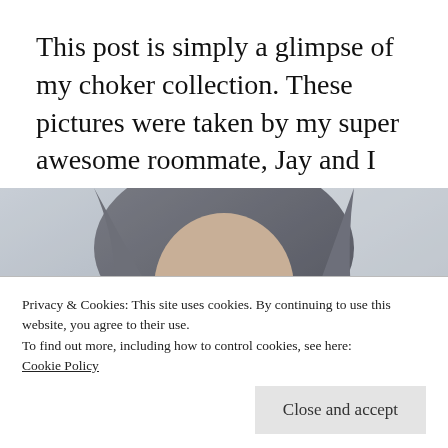This post is simply a glimpse of my choker collection. These pictures were taken by my super awesome roommate, Jay and I love how they turned out! He used soft lighting and did a WAY better job than what I could have done. Oh! – Jay also has a blog! I'll leave the link below if you wanna check it out!!
[Figure (photo): Close-up photo of a young woman wearing a black beaded choker necklace, shot with soft lighting, partial face visible]
Privacy & Cookies: This site uses cookies. By continuing to use this website, you agree to their use.
To find out more, including how to control cookies, see here:
Cookie Policy